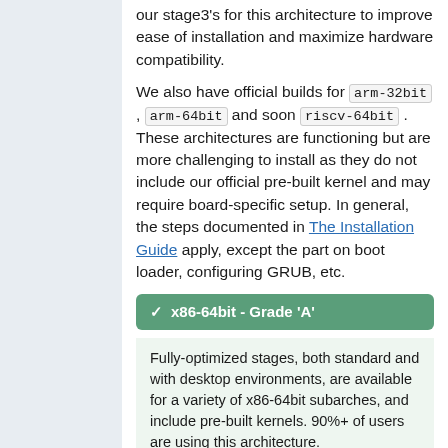our stage3's for this architecture to improve ease of installation and maximize hardware compatibility.
We also have official builds for arm-32bit , arm-64bit and soon riscv-64bit . These architectures are functioning but are more challenging to install as they do not include our official pre-built kernel and may require board-specific setup. In general, the steps documented in The Installation Guide apply, except the part on boot loader, configuring GRUB, etc.
✓ x86-64bit - Grade 'A'
Fully-optimized stages, both standard and with desktop environments, are available for a variety of x86-64bit subarches, and include pre-built kernels. 90%+ of users are using this architecture.
✓ x86-32bit - Grade 'B'